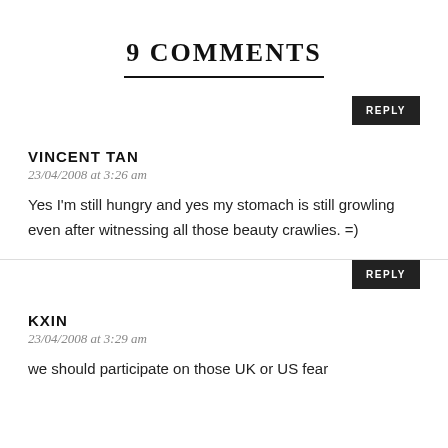9 COMMENTS
VINCENT TAN
23/04/2008 at 3:26 am
Yes I'm still hungry and yes my stomach is still growling even after witnessing all those beauty crawlies. =)
KXIN
23/04/2008 at 3:29 am
we should participate on those UK or US fear